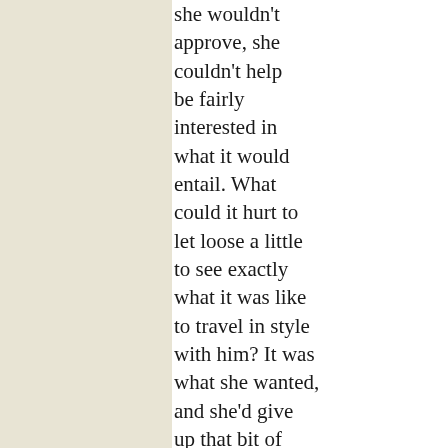couldn't help be fairly interested in what it would entail. What could it hurt to let loose a little to see exactly what it was like to travel in style with him? It was what she wanted, and she'd give up that bit of control and put it in his hands. It wasn't as though she couldn't get it back when she needed it.

"Do I get a new dress out of it?